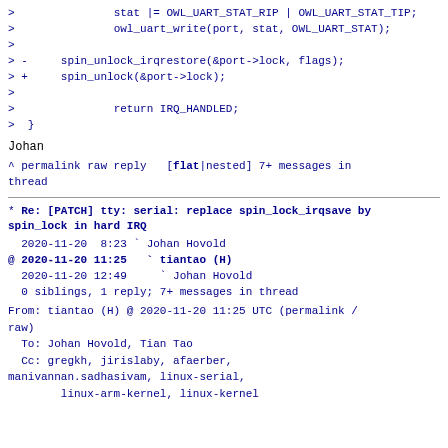> 		stat |= OWL_UART_STAT_RIP | OWL_UART_STAT_TIP;
>		owl_uart_write(port, stat, OWL_UART_STAT);
>
> -		spin_unlock_irqrestore(&port->lock, flags);
> +		spin_unlock(&port->lock);
>
>		return IRQ_HANDLED;
>  }
Johan
^ permalink raw reply   [flat|nested] 7+ messages in thread
* Re: [PATCH] tty: serial: replace spin_lock_irqsave by spin_lock in hard IRQ
2020-11-20  8:23 ` Johan Hovold
@ 2020-11-20 11:25   ` tiantao (H)
  2020-11-20 12:49     ` Johan Hovold
  0 siblings, 1 reply; 7+ messages in thread
From: tiantao (H) @ 2020-11-20 11:25 UTC (permalink / raw)
  To: Johan Hovold, Tian Tao
  Cc: gregkh, jirislaby, afaerber,
manivannan.sadhasivam, linux-serial,
        linux-arm-kernel, linux-kernel